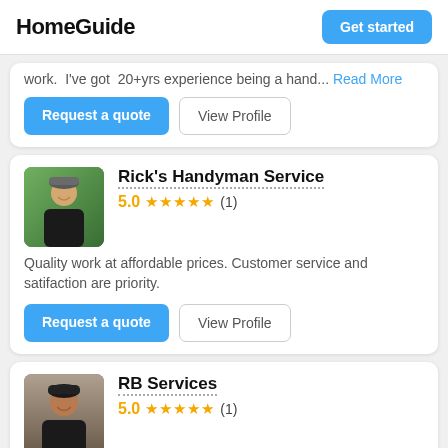HomeGuide | Get started
work. I've got 20+yrs experience being a hand... Read More
Request a quote | View Profile
Rick's Handyman Service
5.0 ★★★★★ (1)
Quality work at affordable prices. Customer service and satifaction are priority.
Request a quote | View Profile
RB Services
5.0 ★★★★★ (1)